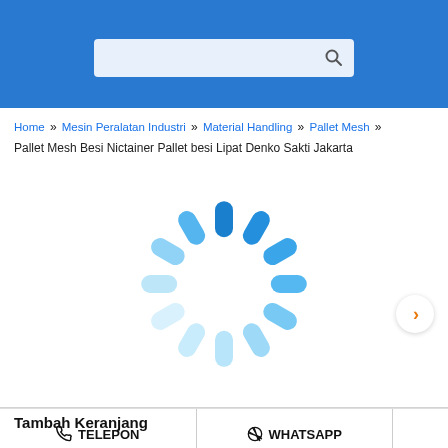Search bar header with blue background
Home » Mesin Peralatan Industri » Material Handling » Pallet Mesh » Pallet Mesh Besi Nictainer Pallet besi Lipat Denko Sakti Jakarta
[Figure (illustration): Loading spinner animation (circular arrangement of blue capsule shapes fading from dark to light blue)]
TELEPON   WHATSAPP
Tambah Keranjang